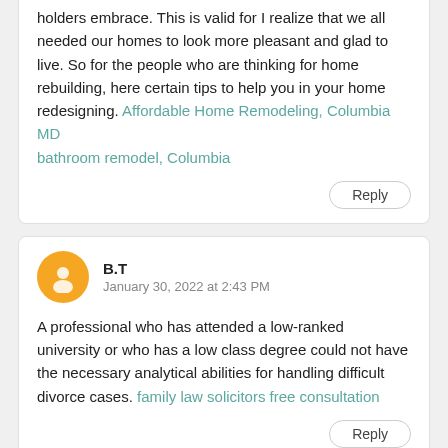holders embrace. This is valid for I realize that we all needed our homes to look more pleasant and glad to live. So for the people who are thinking for home rebuilding, here certain tips to help you in your home redesigning. Affordable Home Remodeling, Columbia MD bathroom remodel, Columbia
Reply
B.T
January 30, 2022 at 2:43 PM
A professional who has attended a low-ranked university or who has a low class degree could not have the necessary analytical abilities for handling difficult divorce cases. family law solicitors free consultation
Reply
firoz mahmud
February 2, 2022 at 9:42 PM